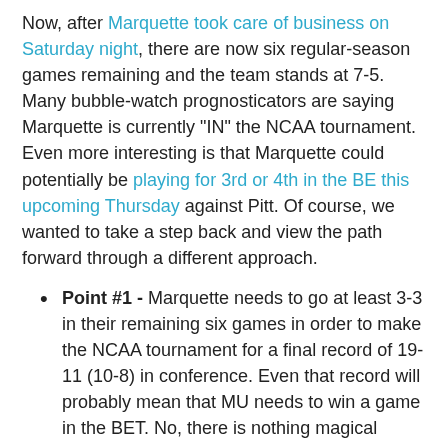Now, after Marquette took care of business on Saturday night, there are now six regular-season games remaining and the team stands at 7-5. Many bubble-watch prognosticators are saying Marquette is currently "IN" the NCAA tournament. Even more interesting is that Marquette could potentially be playing for 3rd or 4th in the BE this upcoming Thursday against Pitt. Of course, we wanted to take a step back and view the path forward through a different approach.
Point #1 - Marquette needs to go at least 3-3 in their remaining six games in order to make the NCAA tournament for a final record of 19-11 (10-8) in conference. Even that record will probably mean that MU needs to win a game in the BET. No, there is nothing magical about twenty wins, but as Providence will tell you, there is also nothing magical about finishing 10-8 in conference. Putting it this way... if MU goes 3-3 down the stretch and loses their first BET game, how comfortable would you be on Selection Sunday?